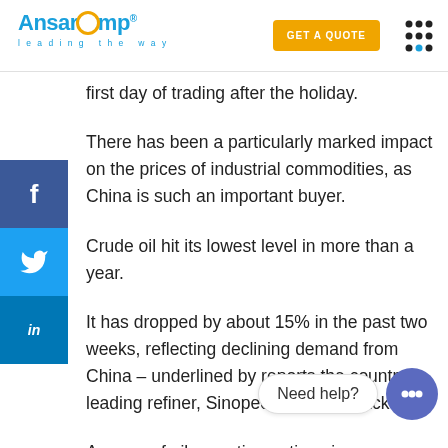AnsarComp — leading the way | GET A QUOTE
first day of trading after the holiday.
There has been a particularly marked impact on the prices of industrial commodities, as China is such an important buyer.
Crude oil hit its lowest level in more than a year.
It has dropped by about 15% in the past two weeks, reflecting declining demand from China – underlined by reports the country's leading refiner, Sinopec, is cutting back.
A group of oil exporting nations is considering